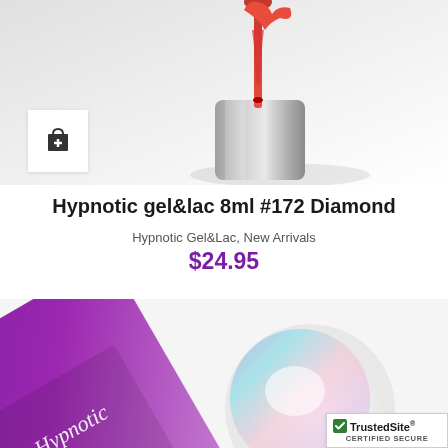[Figure (photo): Close-up photo of a red/pink nail gel polish brush applicator with red gel dripping, showing a metallic silver cap on a white/grey gradient background. A white add-to-cart button with a shopping bag plus icon is overlaid in the bottom-left corner.]
Hypnotic gel&lac 8ml #172 Diamond
Hypnotic Gel&Lac, New Arrivals
$24.95
[Figure (photo): Close-up photo of a purple glitter Hypnotic Gel&Lac nail polish bottle on a white background with iridescent shimmer. A TrustedSite Certified Secure badge is overlaid in the bottom-right corner.]